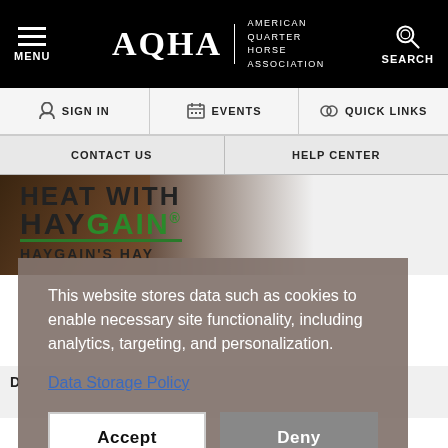AQHA American Quarter Horse Association — MENU | SEARCH
SIGN IN | EVENTS | QUICK LINKS
CONTACT US | HELP CENTER
[Figure (photo): Banner image with horse and Haygain advertisement: HEAT WITH HAYGAIN, HAYGAIN'S HAY]
This website stores data such as cookies to enable necessary site functionality, including analytics, targeting, and personalization.
Data Storage Policy
Accept | Deny